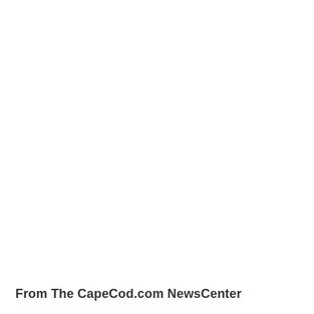From The CapeCod.com NewsCenter